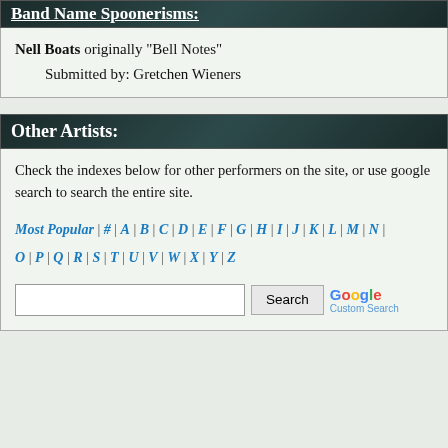Band Name Spoonerisms:
Nell Boats originally "Bell Notes"
    Submitted by: Gretchen Wieners
Other Artists:
Check the indexes below for other performers on the site, or use google search to search the entire site.
Most Popular | # | A | B | C | D | E | F | G | H | I | J | K | L | M | N | O | P | Q | R | S | T | U | V | W | X | Y | Z |
[Figure (other): Google Custom Search box with Search button]